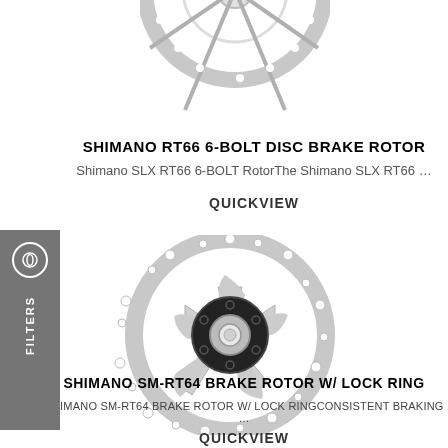[Figure (photo): Shimano RT66 6-bolt disc brake rotor, top portion visible, silver/metallic, cutout spokes]
SHIMANO RT66 6-BOLT DISC BRAKE ROTOR
Shimano SLX RT66 6-BOLT RotorThe Shimano SLX RT66 …
QUICKVIEW
[Figure (photo): Shimano SM-RT64 brake rotor with lock ring, full view, silver with black center spider, 6-bolt style with cooling holes]
SHIMANO SM-RT64 BRAKE ROTOR W/ LOCK RING
SHIMANO SM-RT64 BRAKE ROTOR W/ LOCK RINGCONSISTENT BRAKING …
QUICKVIEW